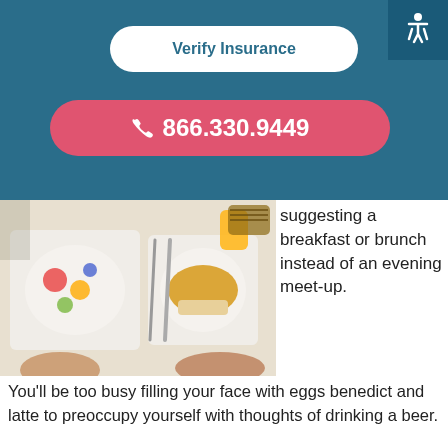Verify Insurance
866.330.9449
[Figure (photo): Overhead view of a breakfast or brunch table with plates of food, orange juice, and cutlery on a white tablecloth]
suggesting a breakfast or brunch instead of an evening meet-up. You'll be too busy filling your face with eggs benedict and latte to preoccupy yourself with thoughts of drinking a beer.
By starting your day with a positive and meaningful social interaction accompanied by some nutritious food, you'll create a strong foundation for another day on the